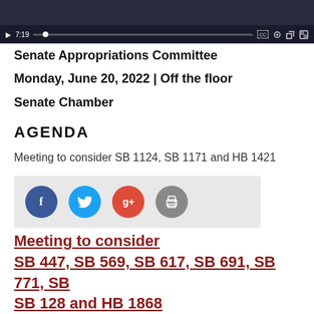[Figure (screenshot): Video player showing a senate committee meeting recording. Controls show play button, timestamp 7:19, progress bar with dot, and icons for closed captions, settings, share, and fullscreen.]
Senate Appropriations Committee
Monday, June 20, 2022 | Off the floor
Senate Chamber
AGENDA
Meeting to consider SB 1124, SB 1171 and HB 1421
[Figure (infographic): Social share buttons: Facebook (blue circle), Twitter (light blue circle), Google+ (red circle), Print (gray circle)]
Meeting to consider SB 447, SB 569, SB 617, SB 691, SB 771, SB 128 and HB 1868